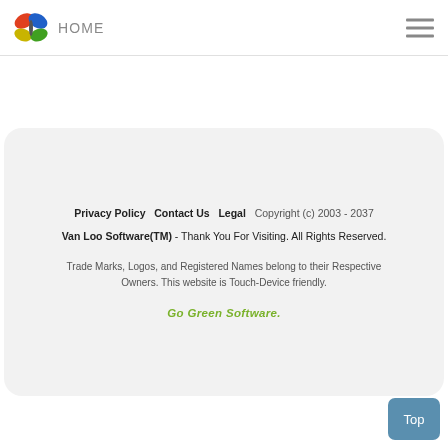HOME
Privacy Policy   Contact Us   Legal   Copyright (c) 2003 - 2037 Van Loo Software(TM) - Thank You For Visiting. All Rights Reserved.

Trade Marks, Logos, and Registered Names belong to their Respective Owners. This website is Touch-Device friendly.

Go Green Software.